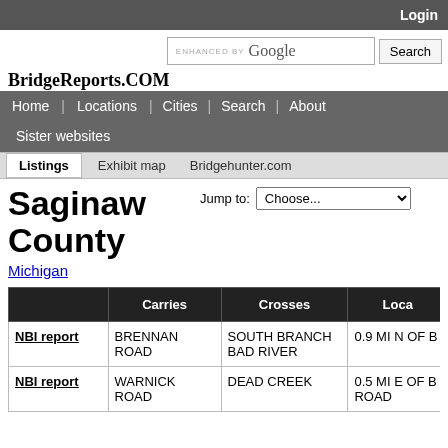Login
[Figure (screenshot): Enhanced by Google search box with Search button]
BridgeReports.com
Home | Locations | Cities | Search | About | Sister websites
Listings   Exhibit map   Bridgehunter.com
Jump to: Choose...
Saginaw County
Michigan
|  | Carries | Crosses | Loca... |
| --- | --- | --- | --- |
| NBI report | BRENNAN ROAD | SOUTH BRANCH BAD RIVER | 0.9 MI N OF B... |
| NBI report | WARNICK ROAD | DEAD CREEK | 0.5 MI E OF B... ROAD |